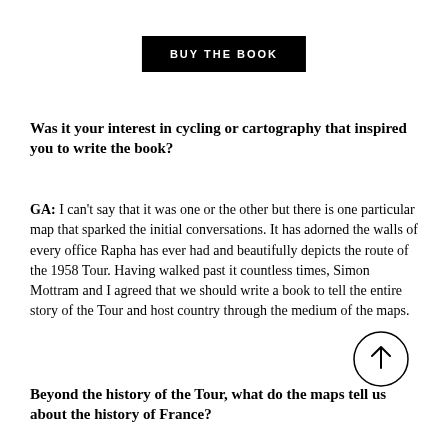BUY THE BOOK
Was it your interest in cycling or cartography that inspired you to write the book?
GA: I can't say that it was one or the other but there is one particular map that sparked the initial conversations. It has adorned the walls of every office Rapha has ever had and beautifully depicts the route of the 1958 Tour. Having walked past it countless times, Simon Mottram and I agreed that we should write a book to tell the entire story of the Tour and host country through the medium of the maps.
[Figure (other): Scroll-to-top arrow button circle overlay]
Beyond the history of the Tour, what do the maps tell us about the history of France?